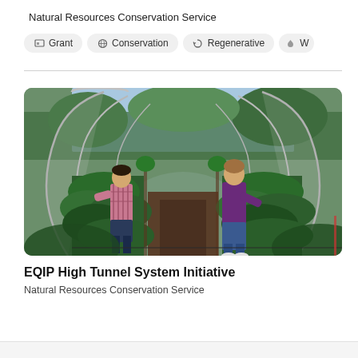Natural Resources Conservation Service
Grant
Conservation
Regenerative
W...
[Figure (photo): Two people working inside a high tunnel greenhouse, tending to rows of green plants. The tunnel structure has metal arches with clear plastic covering. Lush garden beds are visible outside through the open end of the tunnel.]
EQIP High Tunnel System Initiative
Natural Resources Conservation Service